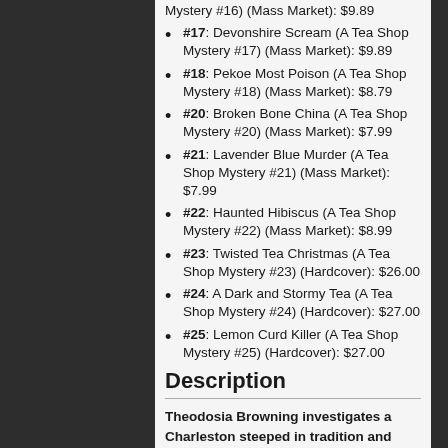#17: Devonshire Scream (A Tea Shop Mystery #17) (Mass Market): $9.89
#18: Pekoe Most Poison (A Tea Shop Mystery #18) (Mass Market): $8.79
#20: Broken Bone China (A Tea Shop Mystery #20) (Mass Market): $7.99
#21: Lavender Blue Murder (A Tea Shop Mystery #21) (Mass Market): $7.99
#22: Haunted Hibiscus (A Tea Shop Mystery #22) (Mass Market): $8.99
#23: Twisted Tea Christmas (A Tea Shop Mystery #23) (Hardcover): $26.00
#24: A Dark and Stormy Tea (A Tea Shop Mystery #24) (Hardcover): $27.00
#25: Lemon Curd Killer (A Tea Shop Mystery #25) (Hardcover): $27.00
Description
Theodosia Browning investigates a Charleston steeped in tradition and treachery in the latest Tea Shop Mystery from New York Times bestselling author Laura Childs, now in paperback.